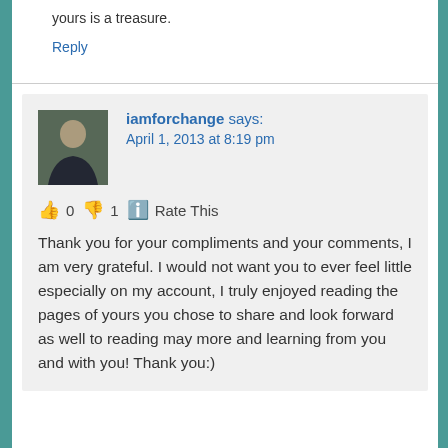yours is a treasure.
Reply
iamforchange says:
April 1, 2013 at 8:19 pm
👍 0 👎 1 ℹ️ Rate This
Thank you for your compliments and your comments, I am very grateful. I would not want you to ever feel little especially on my account, I truly enjoyed reading the pages of yours you chose to share and look forward as well to reading may more and learning from you and with you! Thank you:)